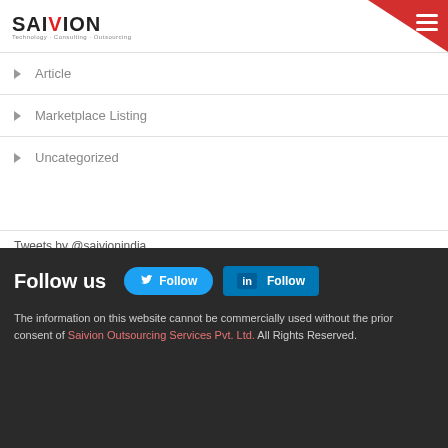SAIVION - Technology Consulting Outsourcing
Article
Marketplace Listing
Uncategorized
Tweets by @saivionindia
Facebook
Follow us
The information on this website cannot be commercially used without the prior consent of Saivion Outsourcing Services Pvt. Ltd. All Rights Reserved.